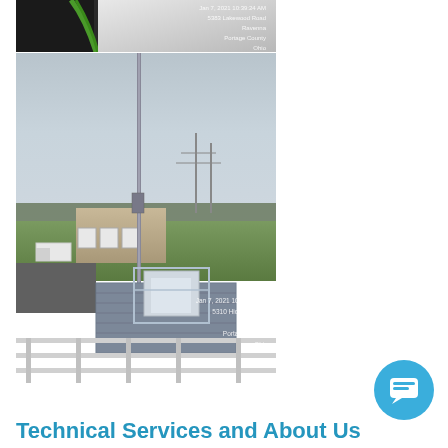[Figure (photo): Top photo: Close-up of equipment/cables with timestamp overlay. Jan 7, 2021 10:39:24 AM, 5383 Lakewood Road, Ravenna, Portage County, Ohio]
[Figure (photo): Bottom photo: View from top of water tower or tank showing antenna mast, facility buildings with white trucks, green lawn, railing in foreground, HVAC equipment below. Timestamp: Jan 7, 2021 10:34:54 AM, 5310 Hickory Court, Ravenna, Portage County, Ohio]
Technical Services and About Us